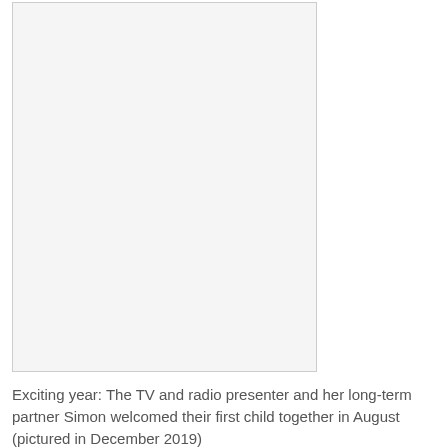[Figure (photo): A photograph placeholder with a light grey background and thin border, taking up the left portion of the page.]
Exciting year: The TV and radio presenter and her long-term partner Simon welcomed their first child together in August (pictured in December 2019)